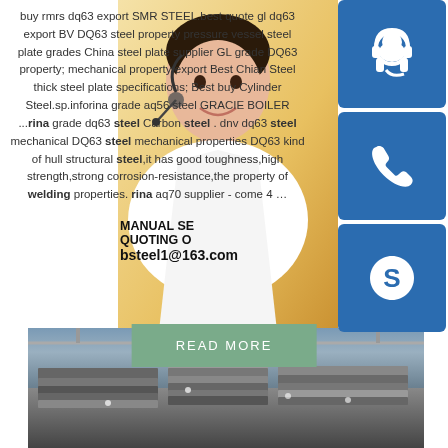buy rmrs dq63 export SMR STEEL.best quote gl dq63 export BV DQ63 steel property pressure vessel steel plate grades China steel plate supplier GL grade DQ63 property; mechanical property export Best Chian Steel thick steel plate specifications; Best buy Cylinder Steel.sp.inforina grade aq56 steel GRACIE BOILER ...rina grade dq63 steel Carbon steel . dnv dq63 steel mechanical DQ63 steel mechanical properties DQ63 kind of hull structural steel,it has good toughness,high strength,strong corrosion-resistance,the property of welding properties. rina aq70 supplier - come 4 ...
[Figure (photo): Woman with headset, customer service representative, with blue icons for headset, phone, and Skype on the right, and contact info overlay showing MANUAL SE, QUOTING O, bsteel1@163.com]
MANUAL SE
QUOTING O
bsteel1@163.com
READ MORE
[Figure (photo): Steel yard with large steel plates stacked in an industrial warehouse]